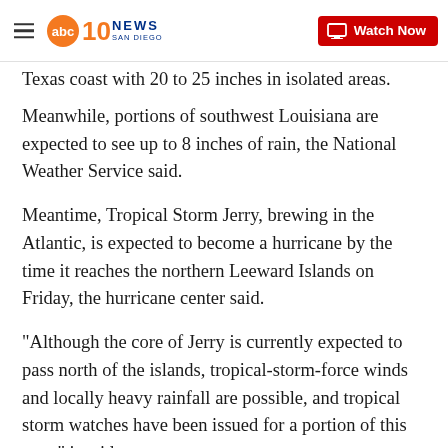10 News San Diego | Watch Now
Texas coast with 20 to 25 inches in isolated areas.
Meanwhile, portions of southwest Louisiana are expected to see up to 8 inches of rain, the National Weather Service said.
Meantime, Tropical Storm Jerry, brewing in the Atlantic, is expected to become a hurricane by the time it reaches the northern Leeward Islands on Friday, the hurricane center said.
"Although the core of Jerry is currently expected to pass north of the islands, tropical-storm-force winds and locally heavy rainfall are possible, and tropical storm watches have been issued for a portion of this area," it said.